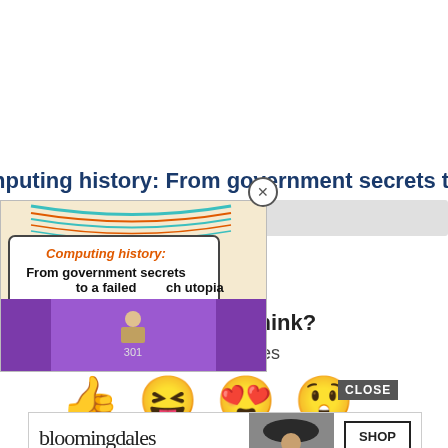nputing history: From government secrets to a failed tech utop
[Figure (screenshot): Popup overlay showing article thumbnail: 'Computing history: From government secrets to a failed tech utopia' with decorative lines, orange and white speech bubble text area, purple bottom section with figures]
you think?
0 Responses
[Figure (infographic): Row of reaction emojis: thumbs up, laughing face with tongue, heart eyes face, surprised face, with CLOSE button]
[Figure (screenshot): Bloomingdale's advertisement banner: 'bloomingdales View Today's Top Deals!' with woman in hat image and 'SHOP NOW >' button]